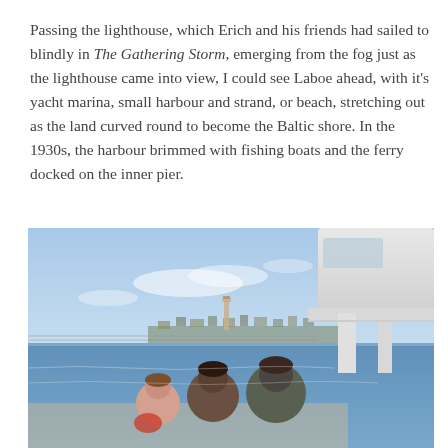Passing the lighthouse, which Erich and his friends had sailed to blindly in The Gathering Storm, emerging from the fog just as the lighthouse came into view, I could see Laboe ahead, with it's yacht marina, small harbour and strand, or beach, stretching out as the land curved round to become the Baltic shore. In the 1930s, the harbour brimmed with fishing boats and the ferry docked on the inner pier.
[Figure (photo): View from a ferry deck approaching Laboe, Germany. Three passengers seen from behind looking toward the shore. A lighthouse and town are visible in the distance across the blue Baltic Sea water. The upper right shows part of the white ferry superstructure. Sky is blue with light clouds.]